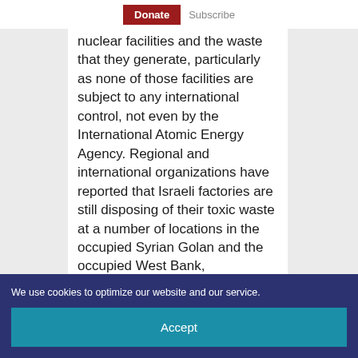Donate  Subscribe
nuclear facilities and the waste that they generate, particularly as none of those facilities are subject to any international control, not even by the International Atomic Energy Agency. Regional and international organizations have reported that Israeli factories are still disposing of their toxic waste at a number of locations in the occupied Syrian Golan and the occupied West Bank,
We use cookies to optimize our website and our service.
Accept